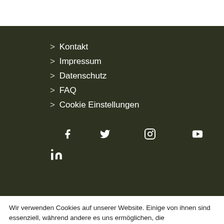> Kontakt
> Impressum
> Datenschutz
> FAQ
> Cookie Einstellungen
[Figure (infographic): Social media icons: Facebook, Twitter, Instagram, YouTube, LinkedIn on dark green background]
Wir verwenden Cookies auf unserer Website. Einige von ihnen sind essenziell, während andere es uns ermöglichen, die Nutzungserfahrung zu verbessern.
Datenschutzerklärung | Einstellungen | Zustimmen